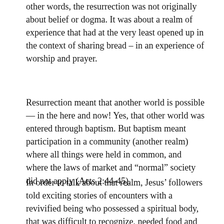other words, the resurrection was not originally about belief or dogma. It was about a realm of experience that had at the very least opened up in the context of sharing bread – in an experience of worship and prayer.
Resurrection meant that another world is possible — in the here and now! Yes, that other world was entered through baptism. But baptism meant participation in a community (another realm) where all things were held in common, and where the laws of market and “normal” society did not apply (Acts 2:44-45).
In order to talk about that realm, Jesus’ followers told exciting stories of encounters with a revivified being who possessed a spiritual body, that was difficult to recognize, needed food and drink, suddenly appeared in their midst, and which just as